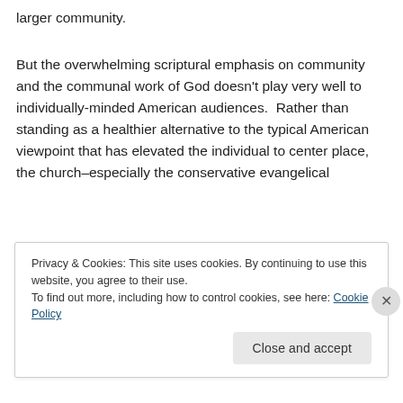larger community.
But the overwhelming scriptural emphasis on community and the communal work of God doesn't play very well to individually-minded American audiences.  Rather than standing as a healthier alternative to the typical American viewpoint that has elevated the individual to center place, the church–especially the conservative evangelical
Privacy & Cookies: This site uses cookies. By continuing to use this website, you agree to their use.
To find out more, including how to control cookies, see here: Cookie Policy
Close and accept